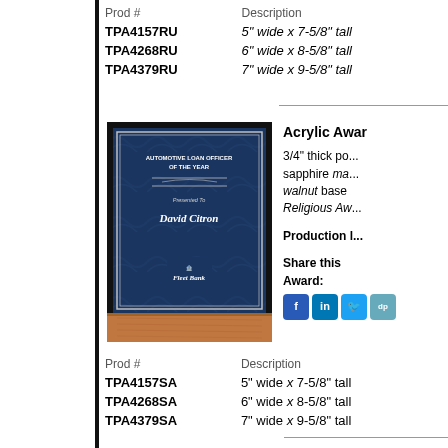| Prod # | Description |
| --- | --- |
| TPA4157RU | 5" wide x 7-5/8" tall |
| TPA4268RU | 6" wide x 8-5/8" tall |
| TPA4379RU | 7" wide x 9-5/8" tall |
[Figure (photo): Acrylic award plaque with sapphire marble pattern and walnut wood base, presented to David Citron from Fleet Bank for Automotive Loan Officer of the Year]
Acrylic Awar... 3/4" thick po... sapphire marble ... walnut base ... Religious Aw... Production l... Share this Award:
| Prod # | Description |
| --- | --- |
| TPA4157SA | 5" wide x 7-5/8" tall |
| TPA4268SA | 6" wide x 8-5/8" tall |
| TPA4379SA | 7" wide x 9-5/8" tall |